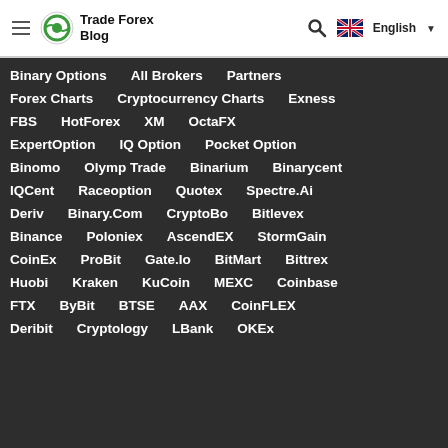Trade Forex Blog — navigation header with logo, search, and English language selector
Binary Options
All Brokers
Partners
Forex Charts
Cryptocurrency Charts
Exness
FBS
HotForex
XM
OctaFX
ExpertOption
IQ Option
Pocket Option
Binomo
Olymp Trade
Binarium
Binarycent
IQCent
Raceoption
Quotex
Spectre.Ai
Deriv
Binary.Com
CryptoBo
Bitlevex
Binance
Poloniex
AscendEX
StormGain
CoinEx
ProBit
Gate.Io
BitMart
Bittrex
Huobi
Kraken
KuCoin
MEXC
Coinbase
FTX
ByBit
BTSE
AAX
CoinFLEX
Deribit
Cryptology
LBank
OKEx